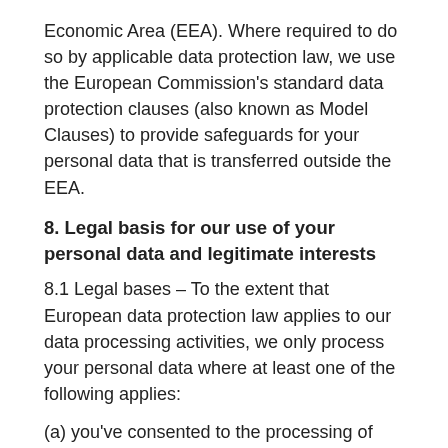Economic Area (EEA). Where required to do so by applicable data protection law, we use the European Commission's standard data protection clauses (also known as Model Clauses) to provide safeguards for your personal data that is transferred outside the EEA.
8. Legal basis for our use of your personal data and legitimate interests
8.1 Legal bases – To the extent that European data protection law applies to our data processing activities, we only process your personal data where at least one of the following applies:
(a) you've consented to the processing of your personal data for a specific purpose – we process your sensitive personal data and send you electronic direct marketing communications based on your consent for us to do that;